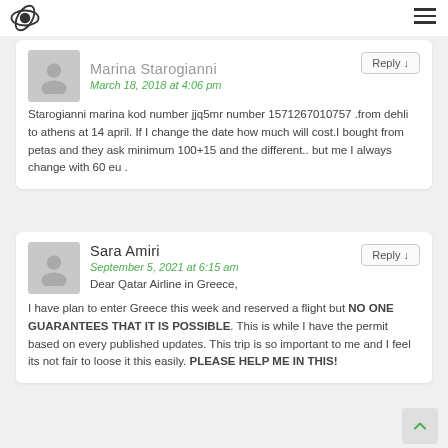Marina Starogianni
March 18, 2018 at 4:06 pm
Starogianni marina kod number jjq5mr number 1571267010757 .from dehli to athens at 14 april. If I change the date how much will cost.I bought from petas and they ask minimum 100+15 and the different.. but me I always change with 60 eu .
Sara Amiri
September 5, 2021 at 6:15 am
Dear Qatar Airline in Greece,

I have plan to enter Greece this week and reserved a flight but NO ONE GUARANTEES THAT IT IS POSSIBLE. This is while I have the permit based on every published updates. This trip is so important to me and I feel its not fair to loose it this easily. PLEASE HELP ME IN THIS!